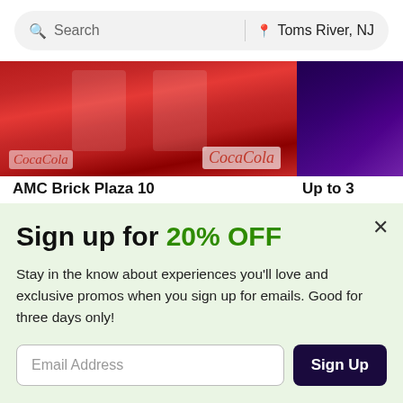Search | Toms River, NJ
[Figure (photo): Coca-Cola branded cups and a person at an event venue]
AMC Brick Plaza 10
Up to 3
Sign up for 20% OFF
Stay in the know about experiences you'll love and exclusive promos when you sign up for emails. Good for three days only!
Email Address
Sign Up
See Promotional Terms. New email subscribers only. Local category deals only. By subscribing, I agree to the Terms of Use and have read the Privacy Statement